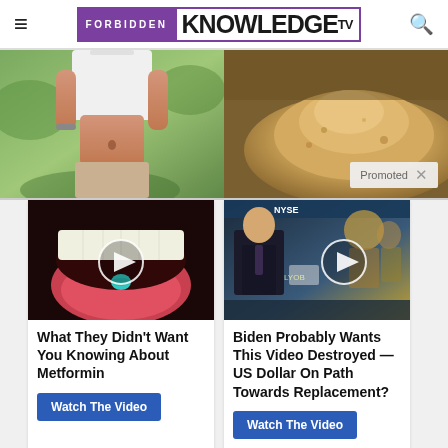Forbidden Knowledge TV
[Figure (photo): Promotional banner with two images: left shows a woman's midriff in a white crop top, right shows a pile of golden-brown powder. Promoted badge visible bottom right.]
[Figure (photo): Video thumbnail showing a close-up of a mouth with a tongue sticking out holding a small blue pill, with a play button overlay.]
What They Didn't Want You Knowing About Metformin
Watch The Video
[Figure (photo): Video thumbnail showing a man in a suit at what appears to be a NYSE trading floor, with a play button overlay.]
Biden Probably Wants This Video Destroyed — US Dollar On Path Towards Replacement?
Watch The Video